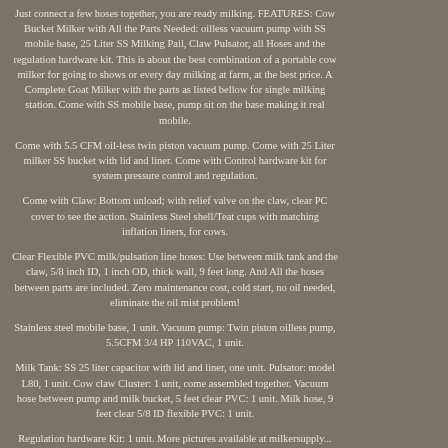Just connect a few hoses together, you are ready milking. FEATURES: Cow Bucket Milker with All the Parts Needed: oilless vacuum pump with SS mobile base, 25 Liter SS Milking Pail, Claw Pulsator, all Hoses and the regulation hardware kit. This is about the best combination of a portable cow milker for going to shows or every day milking at farm, at the best price. A Complete Goat Milker with the parts as listed bellow for single milking station. Come with SS mobile base, pump sit on the base making it real mobile.
Come with 5.5 CFM oil-less twin piston vacuum pump. Come with 25 Liter milker SS bucket with lid and liner. Come with Control hardware kit for system pressure control and regulation.
Come with Claw: Bottom unload; with relief valve on the claw, clear PC cover to see the action. Stainless Steel shell/Teat cups with matching inflation liners, for cows.
Clear Flexible PVC milk/pulsation line hoses: Use between milk tank and the claw, 5/8 inch ID, 1 inch OD, thick wall, 9 feet long. And All the hoses between parts are included. Zero maintenance cost, cold start, no oil needed, eliminate the oil mist problem!
Stainless steel mobile base, 1 unit. Vacuum pump: Twin piston oilless pump, 5.5CFM 3/4 HP 110VAC, 1 unit.
Milk Tank: SS 25 liter capacitor with lid and liner, one unit. Pulsator: model L80, 1 unit. Cow claw Cluster: 1 unit, come assembled together. Vacuum hose between pump and milk bucket, 5 feet clear PVC: 1 unit. Milk hose, 9 feet clear 5/8 ID flexible PVC: 1 unit.
Regulation hardware Kit: 1 unit. More pictures available at milkersupply...